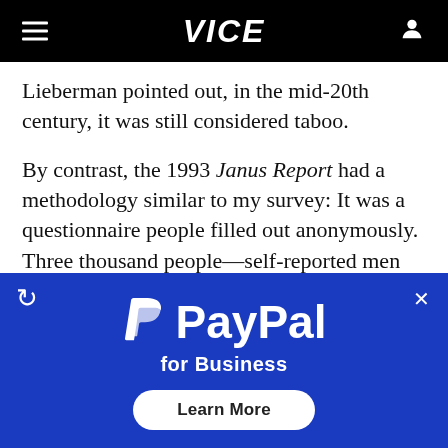VICE
Lieberman pointed out, in the mid-20th century, it was still considered taboo.
By contrast, the 1993 Janus Report had a methodology similar to my survey: It was a questionnaire people filled out anonymously. Three thousand people—self-reported men and women from age 18 to 90—completed the questionnaire, the authors said in a Q&A with
[Figure (other): PayPal for Business advertisement banner with blue background, PayPal logo, 'for Business' text, and 'Learn More' button]